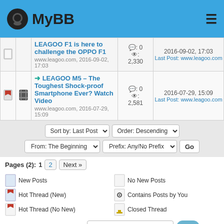MyBB
|  |  | Thread | Stats | Last Post |
| --- | --- | --- | --- | --- |
| [icon] |  | LEAGOO F1 is here to challenge the OPPO F1 | www.leagoo.com, 2016-09-02, 17:03 | 0 replies, 2,330 views | 2016-09-02, 17:03 Last Post: www.leagoo.com |
| [icon] | [film] | LEAGOO M5 – The Toughest Shock-proof Smartphone Ever? Watch Video | www.leagoo.com, 2016-07-29, 15:09 | 0 replies, 2,581 views | 2016-07-29, 15:09 Last Post: www.leagoo.com |
Sort by: Last Post | Order: Descending | From: The Beginning | Prefix: Any/No Prefix | Go
Pages (2): 1 2 Next »
New Posts
No New Posts
Hot Thread (New)
Contains Posts by You
Hot Thread (No New)
Closed Thread
Search this Forum: Go